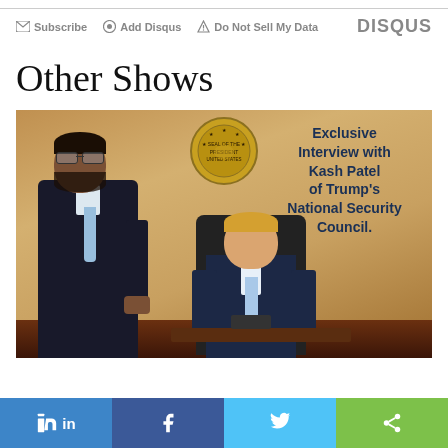Subscribe  Add Disqus  Do Not Sell My Data  DISQUS
Other Shows
[Figure (photo): Two men in dark suits in front of Presidential seal on a tan/gold wall. A seated blond man at a desk, and a standing dark-haired bearded man beside him. Text overlay reads: Exclusive Interview with Kash Patel of Trump's National Security Council.]
in  f  (twitter bird)  (share icon)